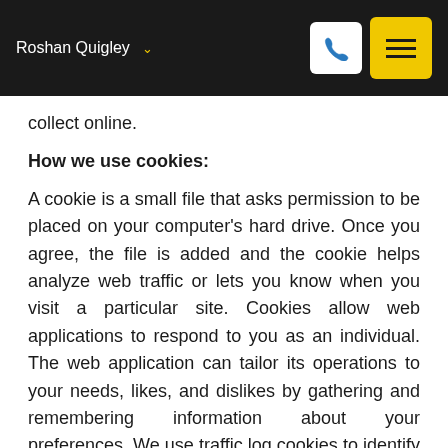Roshan Quigley
collect online.
How we use cookies:
A cookie is a small file that asks permission to be placed on your computer's hard drive. Once you agree, the file is added and the cookie helps analyze web traffic or lets you know when you visit a particular site. Cookies allow web applications to respond to you as an individual. The web application can tailor its operations to your needs, likes, and dislikes by gathering and remembering information about your preferences. We use traffic log cookies to identify which pages are being used. This helps us analyze data about web page traffic and improve our website in order to tailor it to customer needs. We only use this information for statistical analysis purposes and then the data is removed from the